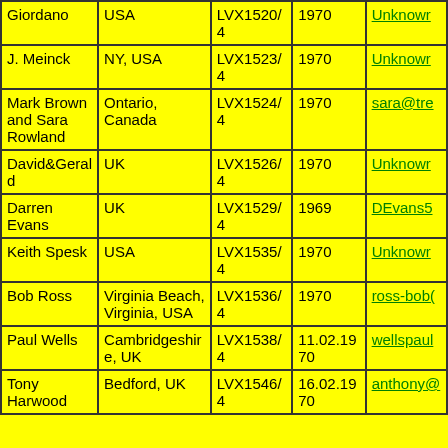| Name | Location | ID | Date | Contact |
| --- | --- | --- | --- | --- |
| Giordano | USA | LVX1520/4 | 1970 | Unknown |
| J. Meinck | NY, USA | LVX1523/4 | 1970 | Unknown |
| Mark Brown and Sara Rowland | Ontario, Canada | LVX1524/4 | 1970 | sara@tre... |
| David&Gerald | UK | LVX1526/4 | 1970 | Unknown |
| Darren Evans | UK | LVX1529/4 | 1969 | DEvans5... |
| Keith Spesk | USA | LVX1535/4 | 1970 | Unknown |
| Bob Ross | Virginia Beach, Virginia, USA | LVX1536/4 | 1970 | ross-bob(... |
| Paul Wells | Cambridgeshire, UK | LVX1538/4 | 11.02.1970 | wellspaul... |
| Tony Harwood | Bedford, UK | LVX1546/4 | 16.02.1970 | anthony@... |